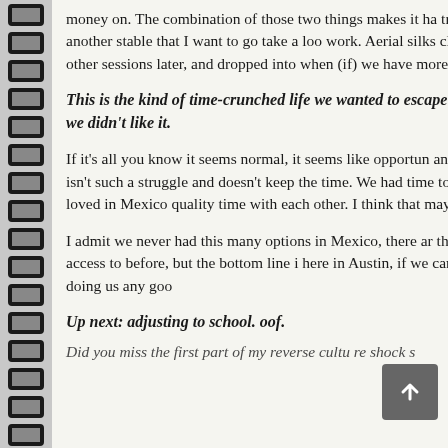money on. The combination of those two things makes it ha trying. I've found another stable that I want to go take a loo work. Aerial silks classes will have other sessions later, an dropped into when (if) we have more time.
This is the kind of time-crunched life we wanted to escape remembering why we didn't like it.
If it's all you know it seems normal, it seems like opportun another way, one that isn't such a struggle and doesn't keep the time. We had time to do the things we loved in Mexico quality time with each other. I think that may have spoiled
I admit we never had this many options in Mexico, there a that we've never had access to before, but the bottom line i here in Austin, if we can't get to it it isn't doing us any goo
Up next: adjusting to school. oof.
Did you miss the first part of my reverse cultu re shock s